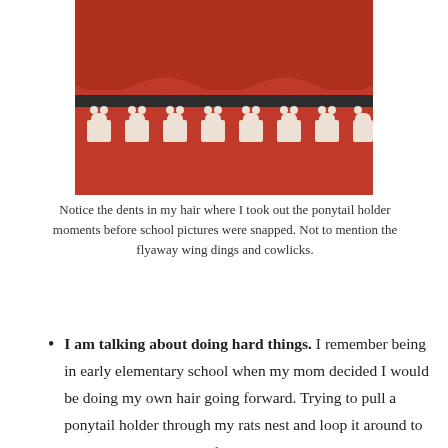[Figure (photo): Close-up photo of a red knitted or woven fabric/garment with a decorative border featuring a row of cream-colored bear or animal figures against the red background, and a dark stripe above them.]
Notice the dents in my hair where I took out the ponytail holder moments before school pictures were snapped. Not to mention the flyaway wing dings and cowlicks.
I am talking about doing hard things. I remember being in early elementary school when my mom decided I would be doing my own hair going forward. Trying to pull a ponytail holder through my rats nest and loop it around to secure my mop made it feel like my hands were not coordinating with my brain. But